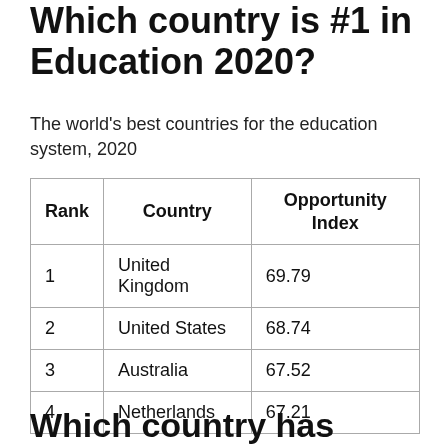Which country is #1 in Education 2020?
The world's best countries for the education system, 2020
| Rank | Country | Opportunity Index |
| --- | --- | --- |
| 1 | United Kingdom | 69.79 |
| 2 | United States | 68.74 |
| 3 | Australia | 67.52 |
| 4 | Netherlands | 67.21 |
Which country has toughest